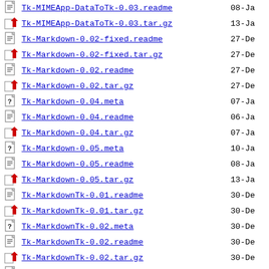Tk-MIMEApp-DataToTk-0.03.readme  08-Ja
Tk-MIMEApp-DataToTk-0.03.tar.gz  13-Ja
Tk-Markdown-0.02-fixed.readme  27-De
Tk-Markdown-0.02-fixed.tar.gz  27-De
Tk-Markdown-0.02.readme  27-De
Tk-Markdown-0.02.tar.gz  27-De
Tk-Markdown-0.04.meta  07-Ja
Tk-Markdown-0.04.readme  06-Ja
Tk-Markdown-0.04.tar.gz  07-Ja
Tk-Markdown-0.05.meta  10-Ja
Tk-Markdown-0.05.readme  08-Ja
Tk-Markdown-0.05.tar.gz  13-Ja
Tk-MarkdownTk-0.01.readme  30-De
Tk-MarkdownTk-0.01.tar.gz  30-De
Tk-MarkdownTk-0.02.meta  30-De
Tk-MarkdownTk-0.02.readme  30-De
Tk-MarkdownTk-0.02.tar.gz  30-De
Tk-MarkdownTk-0.05.meta  30-De